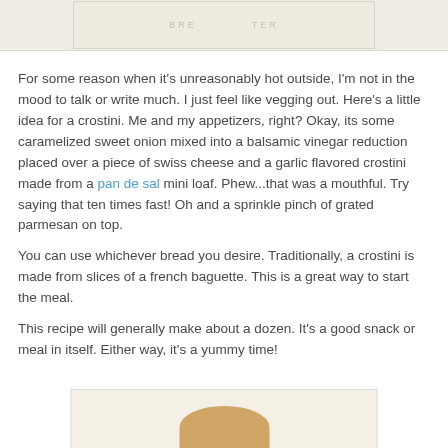[Figure (photo): Top portion of a food blog image showing a crostini on a plate with a watermark/logo text visible]
For some reason when it's unreasonably hot outside, I'm not in the mood to talk or write much. I just feel like vegging out. Here's a little idea for a crostini. Me and my appetizers, right? Okay, its some caramelized sweet onion mixed into a balsamic vinegar reduction placed over a piece of swiss cheese and a garlic flavored crostini made from a pan de sal mini loaf. Phew...that was a mouthful. Try saying that ten times fast! Oh and a sprinkle pinch of grated parmesan on top.
You can use whichever bread you desire. Traditionally, a crostini is made from slices of a french baguette. This is a great way to start the meal.
This recipe will generally make about a dozen. It's a good snack or meal in itself. Either way, it's a yummy time!
[Figure (photo): Bottom portion of a food blog image showing a crostini appetizer, partially visible at the bottom of the page]